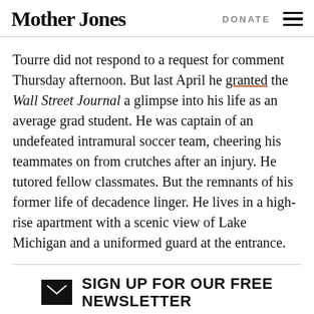Mother Jones  DONATE
Tourre did not respond to a request for comment Thursday afternoon. But last April he granted the Wall Street Journal a glimpse into his life as an average grad student. He was captain of an undefeated intramural soccer team, cheering his teammates on from crutches after an injury. He tutored fellow classmates. But the remnants of his former life of decadence linger. He lives in a high-rise apartment with a scenic view of Lake Michigan and a uniformed guard at the entrance.
SIGN UP FOR OUR FREE NEWSLETTER